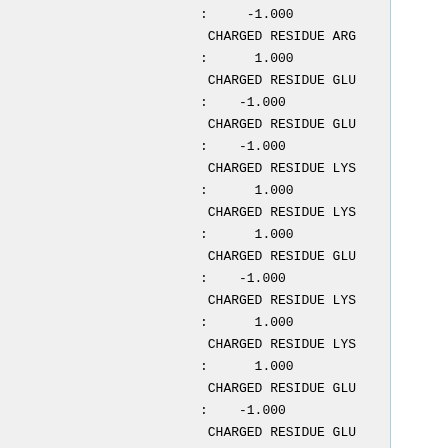:     -1.000
 CHARGED RESIDUE ARG
:      1.000
 CHARGED RESIDUE GLU
:    -1.000
 CHARGED RESIDUE GLU
:    -1.000
 CHARGED RESIDUE LYS
:      1.000
 CHARGED RESIDUE LYS
:      1.000
 CHARGED RESIDUE GLU
:    -1.000
 CHARGED RESIDUE LYS
:      1.000
 CHARGED RESIDUE LYS
:      1.000
 CHARGED RESIDUE GLU
:    -1.000
 CHARGED RESIDUE GLU
:    -1.000
 CHARGED RESIDUE LYS
:      1.000
 CHARGED RESIDUE GLU
:    -1.000